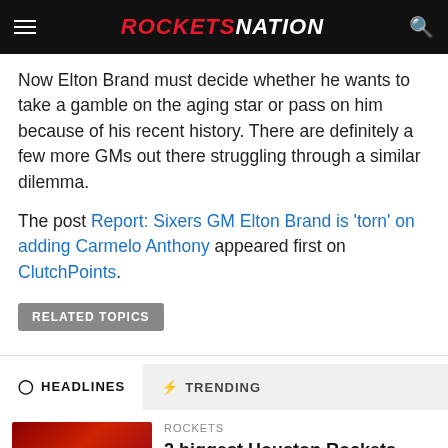ROCKETSNATION
Now Elton Brand must decide whether he wants to take a gamble on the aging star or pass on him because of his recent history. There are definitely a few more GMs out there struggling through a similar dilemma.
The post Report: Sixers GM Elton Brand is 'torn' on adding Carmelo Anthony appeared first on ClutchPoints.
RELATED TOPICS
HEADLINES   TRENDING
ROCKETS
2 biggest Houston Rockets overreactions from 2022 NBA Summer League